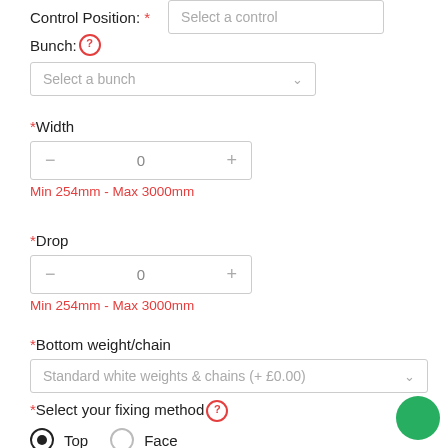Control Position: * [Select a control]
Bunch: [?] Select a bunch
*Width
– 0 +
Min 254mm – Max 3000mm
*Drop
– 0 +
Min 254mm – Max 3000mm
*Bottom weight/chain
Standard white weights & chains (+ £0.00)
*Select your fixing method [?]
Top  Face